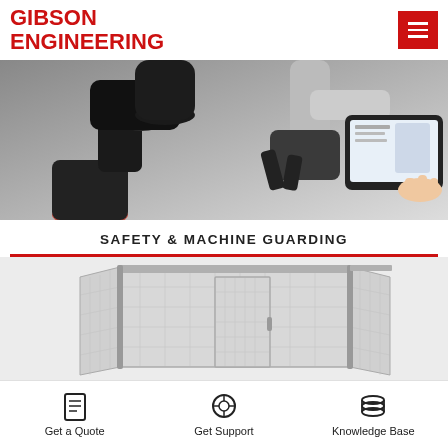Gibson Engineering
[Figure (photo): Robotic arm holding a gripper tool interacting with a tablet computer displaying a CAD/robot interface, industrial robotics showcase]
SAFETY & MACHINE GUARDING
[Figure (photo): Industrial machine guarding enclosure with wire mesh panels and a door, silver/gray metal frame, safety cage structure]
Get a Quote  Get Support  Knowledge Base